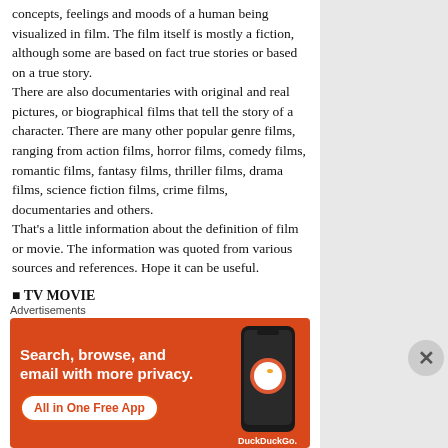concepts, feelings and moods of a human being visualized in film. The film itself is mostly a fiction, although some are based on fact true stories or based on a true story.
There are also documentaries with original and real pictures, or biographical films that tell the story of a character. There are many other popular genre films, ranging from action films, horror films, comedy films, romantic films, fantasy films, thriller films, drama films, science fiction films, crime films, documentaries and others.
That's a little information about the definition of film or movie. The information was quoted from various sources and references. Hope it can be useful.
■ TV MOVIE
The first television shows were experimental...
Advertisements
[Figure (screenshot): DuckDuckGo advertisement banner: orange background with white text 'Search, browse, and email with more privacy.' and 'All in One Free App' button, alongside a phone showing DuckDuckGo app]